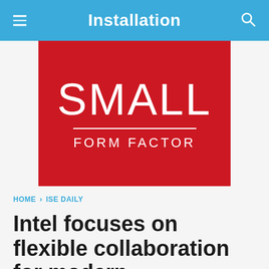Installation
[Figure (logo): Small Form Factor logo — white text 'SMALL' in large letters, a white horizontal rule, then 'FORM FACTOR' in spaced capitals, all on a red background.]
HOME › ISE DAILY
Intel focuses on flexible collaboration for modern